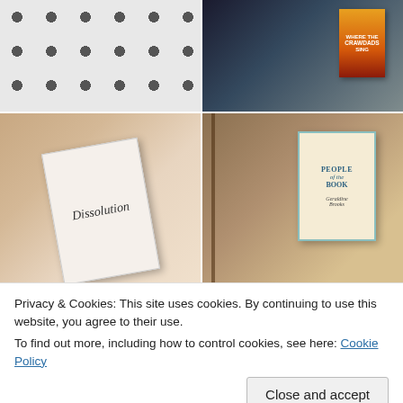[Figure (photo): Close-up of white fabric/wrapping paper with dark green polka dots pattern]
[Figure (photo): Hand holding 'Where the Crawdads Sing' book with bookshelves in background]
[Figure (photo): Open book titled 'Dissolution' lying among other books with terracotta/cream fabric]
[Figure (photo): Book 'People of the Book' by Geraldine Brooks on wooden surface with open book nearby]
Privacy & Cookies: This site uses cookies. By continuing to use this website, you agree to their use.
To find out more, including how to control cookies, see here: Cookie Policy
[Figure (photo): Partial view of colorful books at bottom left]
[Figure (photo): Partial view of books/shelves at bottom right]